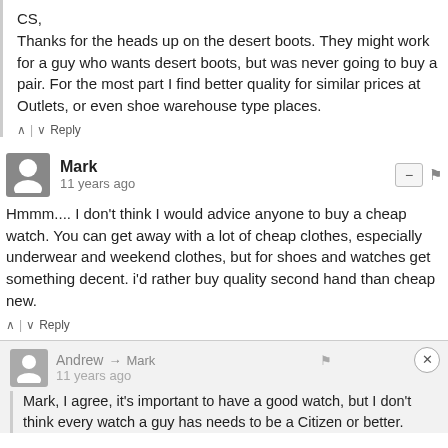CS,
Thanks for the heads up on the desert boots. They might work for a guy who wants desert boots, but was never going to buy a pair. For the most part I find better quality for similar prices at Outlets, or even shoe warehouse type places.
^ | v  Reply
Mark
11 years ago
Hmmm.... I don't think I would advice anyone to buy a cheap watch. You can get away with a lot of cheap clothes, especially underwear and weekend clothes, but for shoes and watches get something decent. i'd rather buy quality second hand than cheap new.
^ | v  Reply
Andrew → Mark
11 years ago
Mark, I agree, it's important to have a good watch, but I don't think every watch a guy has needs to be a Citizen or better.